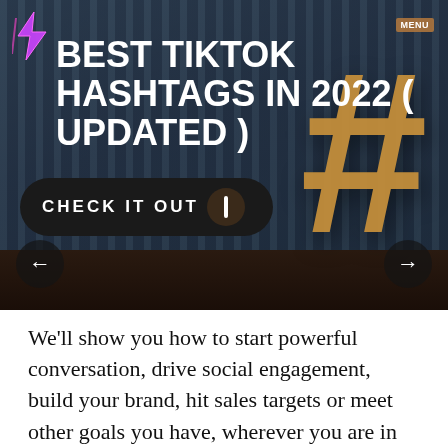[Figure (screenshot): Hero banner image of a cardboard hashtag symbol leaning against a corrugated metal wall in a dark industrial setting. Overlaid with bold white title text 'BEST TIKTOK HASHTAGS IN 2022 (UPDATED)', a 'CHECK IT OUT' CTA button, a lightning bolt logo, a 'MENU' tag, and left/right navigation arrows.]
We'll show you how to start powerful conversation, drive social engagement, build your brand, hit sales targets or meet other goals you have, wherever you are in the world